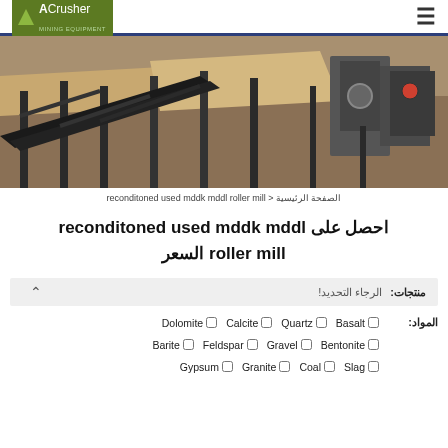ACrusher Mining Equipment
[Figure (photo): Industrial mining/crushing equipment with conveyor belts and machinery at a quarry site]
الصفحة الرئيسية > reconditoned used mddk mddl roller mill
احصل على reconditoned used mddk mddl roller mill السعر
منتجات: الرجاء التحديد!
المواد: Dolomite Calcite Quartz Basalt Barite Feldspar Gravel Bentonite Gypsum Granite Coal Slag